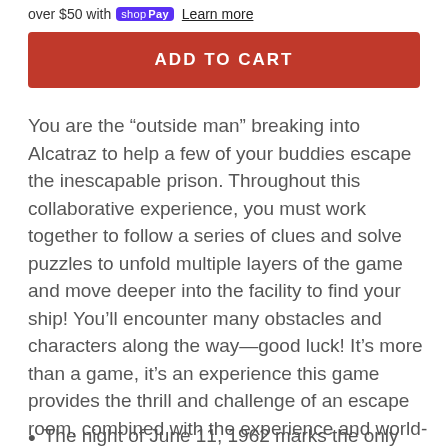over $50 with shop Pay Learn more
ADD TO CART
You are the “outside man” breaking into Alcatraz to help a few of your buddies escape the inescapable prison. Throughout this collaborative experience, you must work together to follow a series of clues and solve puzzles to unfold multiple layers of the game and move deeper into the facility to find your ship! You’ll encounter many obstacles and characters along the way—good luck! It’s more than a game, it’s an experience this game provides the thrill and challenge of an escape room, combined with the experience and world-immersion of a movie! For 1 to 6 players. Difficulty level: 2 out of 4
The night of June 11, 1962 marks the only